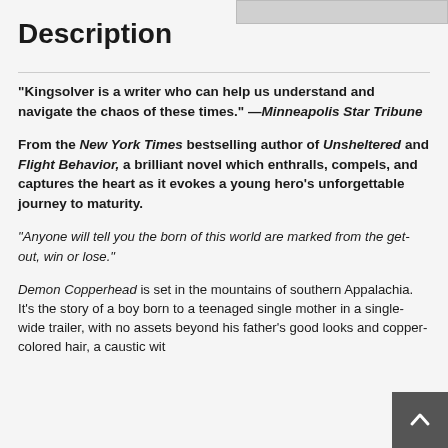Description
“Kingsolver is a writer who can help us understand and navigate the chaos of these times.” —Minneapolis Star Tribune
From the New York Times bestselling author of Unsheltered and Flight Behavior, a brilliant novel which enthralls, compels, and captures the heart as it evokes a young hero’s unforgettable journey to maturity.
“Anyone will tell you the born of this world are marked from the get-out, win or lose.”
Demon Copperhead is set in the mountains of southern Appalachia. It’s the story of a boy born to a teenaged single mother in a single-wide trailer, with no assets beyond his father’s good looks and copper-colored hair, a caustic wit